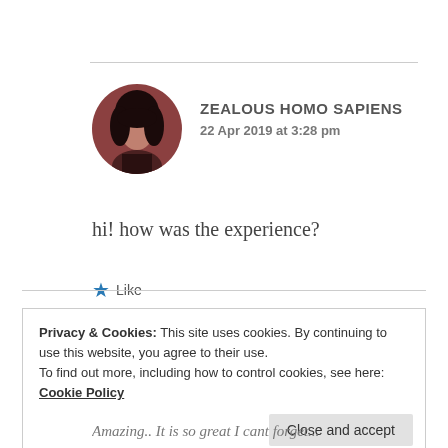[Figure (photo): Circular avatar photo of a person with dark hair, reddish-brown toned image]
ZEALOUS HOMO SAPIENS
22 Apr 2019 at 3:28 pm
hi! how was the experience?
Like
Privacy & Cookies: This site uses cookies. By continuing to use this website, you agree to their use.
To find out more, including how to control cookies, see here: Cookie Policy
Close and accept
Amazing.. It is so great I cant forget...